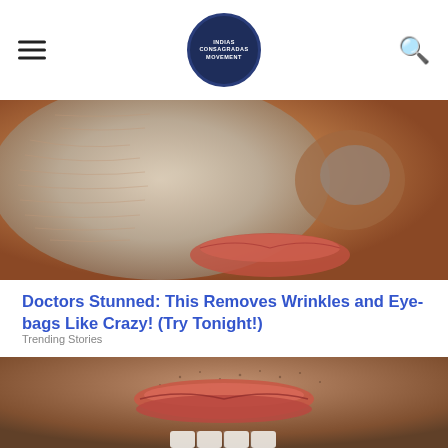INDIAS CONSAGRADAS MOVEMENT (logo)
[Figure (photo): Close-up photo of a person's face showing wrinkled skin with a clay or cream mask applied, nose and lips visible]
Doctors Stunned: This Removes Wrinkles and Eye-bags Like Crazy! (Try Tonight!)
Trending Stories
[Figure (photo): Close-up photo of the lower half of a face showing lips, chin with stubble, and partial teeth visible at the bottom]